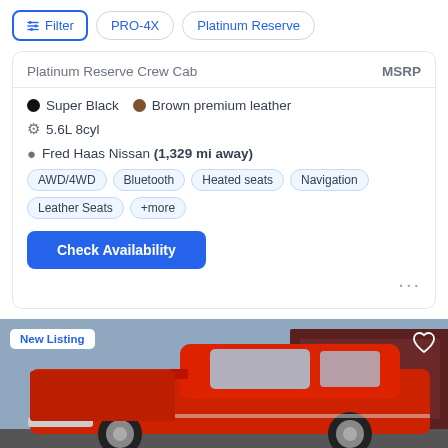Filter | PRO-4X | Platinum Reserve
Platinum Reserve Crew Cab
MSRP
Super Black   Brown premium leather
5.6L 8cyl
Fred Haas Nissan (1,329 mi away)
AWD/4WD
Bluetooth
Heated seats
Navigation
Leather Seats
+more
Check Availability
New Listing